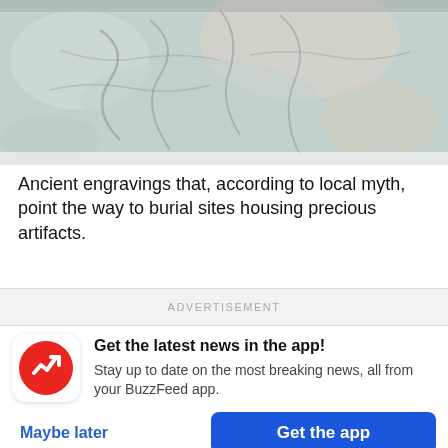[Figure (photo): Close-up photo of ancient stone engravings with textured sandy surface, partially cut off at top of page.]
Ancient engravings that, according to local myth, point the way to burial sites housing precious artifacts.
ADVERTISEMENT
Get the latest news in the app! Stay up to date on the most breaking news, all from your BuzzFeed app.
Maybe later
Get the app